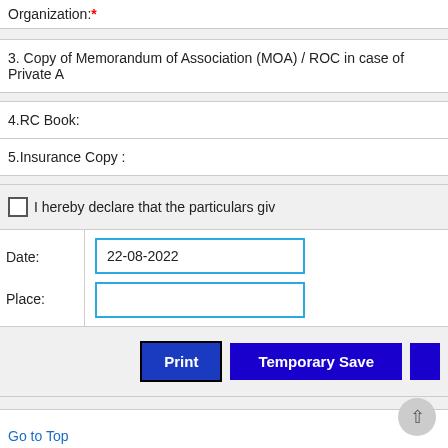Organization:*
3. Copy of Memorandum of Association (MOA) / ROC in case of Private A
4.RC Book:
5.Insurance Copy :
I hereby declare that the particulars giv
Date: 22-08-2022
Place:
Print
Temporary Save
Go to Top